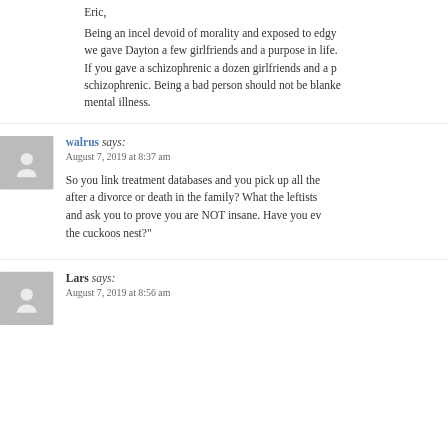Eric,
Being an incel devoid of morality and exposed to edgy we gave Dayton a few girlfriends and a purpose in life. If you gave a schizophrenic a dozen girlfriends and a p schizophrenic. Being a bad person should not be blanke mental illness.
walrus says:
August 7, 2019 at 8:37 am

So you link treatment databases and you pick up all the after a divorce or death in the family? What the leftists and ask you to prove you are NOT insane. Have you ev the cuckoos nest?"
Lars says:
August 7, 2019 at 8:56 am